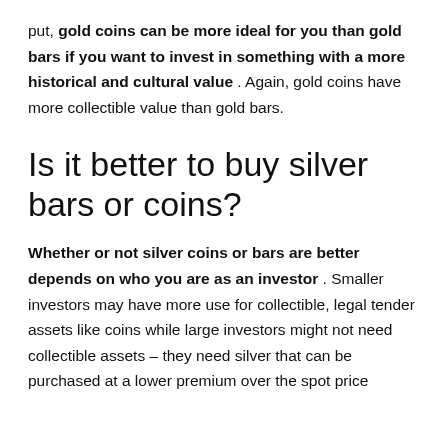put, gold coins can be more ideal for you than gold bars if you want to invest in something with a more historical and cultural value . Again, gold coins have more collectible value than gold bars.
Is it better to buy silver bars or coins?
Whether or not silver coins or bars are better depends on who you are as an investor . Smaller investors may have more use for collectible, legal tender assets like coins while large investors might not need collectible assets – they need silver that can be purchased at a lower premium over the spot price